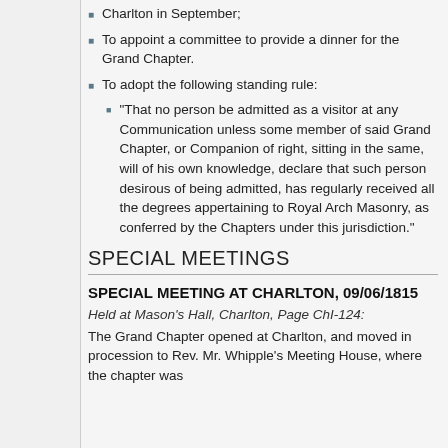Charlton in September;
To appoint a committee to provide a dinner for the Grand Chapter.
To adopt the following standing rule:
"That no person be admitted as a visitor at any Communication unless some member of said Grand Chapter, or Companion of right, sitting in the same, will of his own knowledge, declare that such person desirous of being admitted, has regularly received all the degrees appertaining to Royal Arch Masonry, as conferred by the Chapters under this jurisdiction."
SPECIAL MEETINGS
SPECIAL MEETING AT CHARLTON, 09/06/1815
Held at Mason's Hall, Charlton, Page ChI-124:
The Grand Chapter opened at Charlton, and moved in procession to Rev. Mr. Whipple's Meeting House, where the chapter was